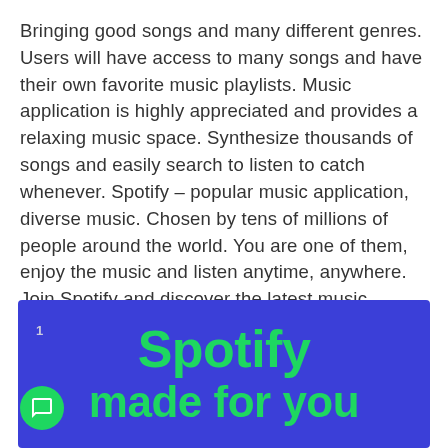Bringing good songs and many different genres. Users will have access to many songs and have their own favorite music playlists. Music application is highly appreciated and provides a relaxing music space. Synthesize thousands of songs and easily search to listen to catch whenever. Spotify – popular music application, diverse music. Chosen by tens of millions of people around the world. You are one of them, enjoy the music and listen anytime, anywhere. Join Spotify and discover the latest music.
[Figure (illustration): Blue banner with green bold text reading 'Spotify made for you'. Includes a page number '1' and a green circular chat bubble icon at the bottom left.]